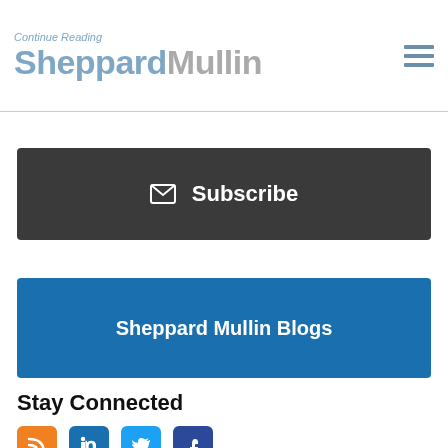Continue Reading Sheppard Mullin
Subscribe
Sheppard Mullin Blogs
Stay Connected
[Figure (other): Social media icons: RSS (orange), LinkedIn (blue), Twitter (light blue), Facebook (dark blue)]